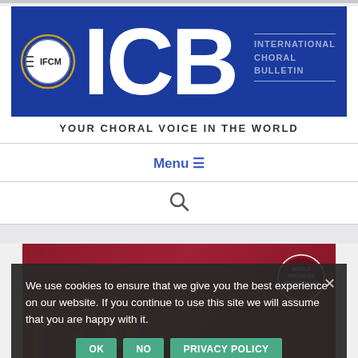[Figure (logo): IFCM ICB International Choral Bulletin logo on blue background with IFCM circle logo and large ICB letters]
YOUR CHORAL VOICE IN THE WORLD
Menu ☰
[Figure (other): Search icon (magnifying glass)]
[Figure (photo): Dark red/maroon background feature image with 'World Premiere Recordings' circular badge and large gold letters partially visible]
We use cookies to ensure that we give you the best experience on our website. If you continue to use this site we will assume that you are happy with it.
OK  NO  PRIVACY POLICY